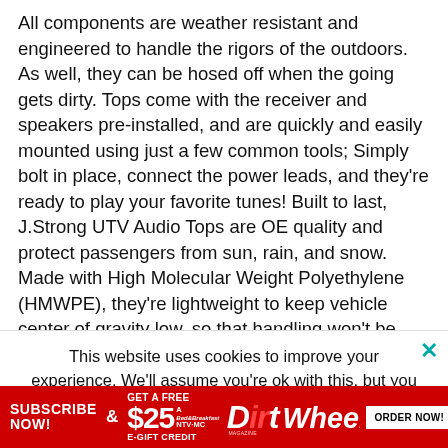All components are weather resistant and engineered to handle the rigors of the outdoors. As well, they can be hosed off when the going gets dirty. Tops come with the receiver and speakers pre-installed, and are quickly and easily mounted using just a few common tools; Simply bolt in place, connect the power leads, and they're ready to play your favorite tunes! Built to last, J.Strong UTV Audio Tops are OE quality and protect passengers from sun, rain, and snow. Made with High Molecular Weight Polyethylene (HMWPE), they're lightweight to keep vehicle center of gravity low, so that handling won't be adversely affected. HMWPE also provides superior impact and abrasion resistance, so J.Strong tops won't crack and scratch like tops from other manufacturers. LED interior lamps are integrated to provide excellent visibility, even on the darkest of
This website uses cookies to improve your experience. We'll assume you're ok with this, but you can opt-out if you wish.
[Figure (infographic): Red advertisement banner for Dirt Wheels magazine subscription with 'SUBSCRIBE NOW! & GET A FREE $25 E-GIFT CREDIT' and 'ORDER NOW!' button]